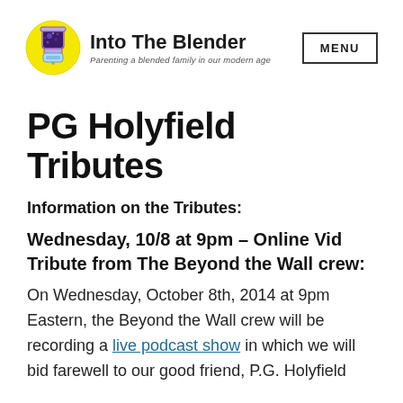Into The Blender — Parenting a blended family in our modern age | MENU
PG Holyfield Tributes
Information on the Tributes:
Wednesday, 10/8 at 9pm – Online Vid Tribute from The Beyond the Wall crew:
On Wednesday, October 8th, 2014 at 9pm Eastern, the Beyond the Wall crew will be recording a live podcast show in which we will bid farewell to our good friend, P.G. Holyfield